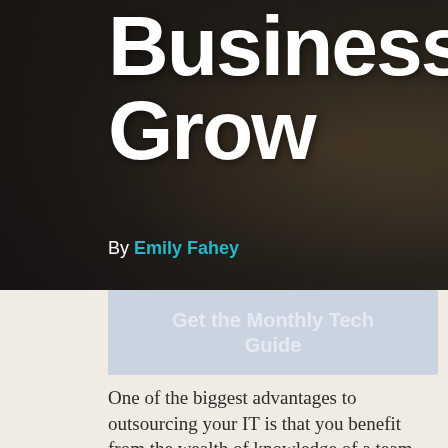[Figure (photo): Dark-toned hero photo background showing a person in a business meeting with a Dell laptop on a wooden table, with a dark translucent overlay]
Business Grow
By Emily Fahey
Get the Monthly Tech Guide
One of the biggest advantages to outsourcing your IT is that you benefit from the wealth of knowledge of a team,